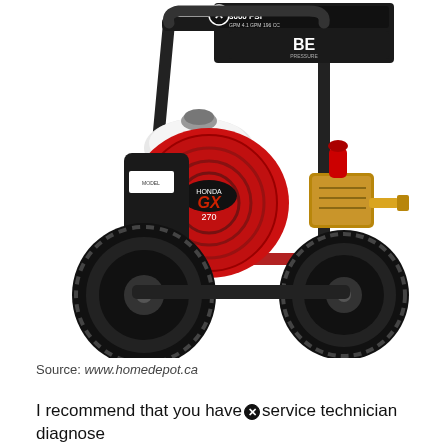[Figure (photo): Photo of a BE Pressure brand gas-powered pressure washer (3000 PSI) with Honda GX engine, mounted on a two-wheeled steel frame cart with large black pneumatic tires, a brass pump with red nozzle visible, and a black control panel at the top.]
Source: www.homedepot.ca
I recommend that you have [blocked icon] service technician diagnose